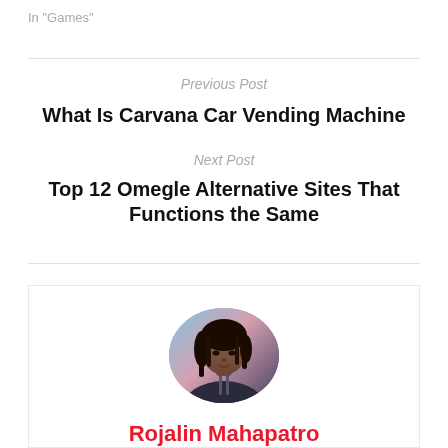In "Games"
Previous Post
What Is Carvana Car Vending Machine
Next Post
Top 12 Omegle Alternative Sites That Functions the Same
[Figure (photo): Circular avatar photo of Rojalin Mahapatro]
Rojalin Mahapatro